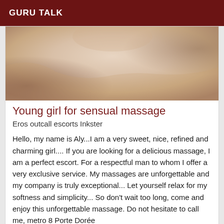GURU TALK
[Figure (photo): Close-up photograph of a person's bare upper back/shoulder area with skin tones in cream and tan.]
Young girl for sensual massage
Eros outcall escorts Inkster
Hello, my name is Aly...I am a very sweet, nice, refined and charming girl.... If you are looking for a delicious massage, I am a perfect escort. For a respectful man to whom I offer a very exclusive service. My massages are unforgettable and my company is truly exceptional... Let yourself relax for my softness and simplicity... So don’t wait too long, come and enjoy this unforgettable massage. Do not hesitate to call me, metro 8 Porte Dorée